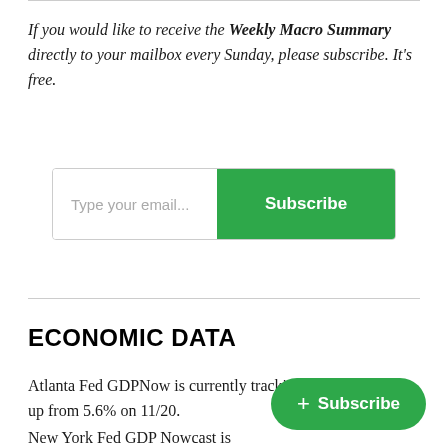If you would like to receive the Weekly Macro Summary directly to your mailbox every Sunday, please subscribe. It's free.
[Figure (other): Email subscription widget with text input field labeled 'Type your email...' and a green 'Subscribe' button]
ECONOMIC DATA
Atlanta Fed GDPNow is currently tracking at 11.2% for Q4, up from 5.6% on 11/20.
[Figure (other): Floating green 'Subscribe' button with plus icon]
New York Fed GDP Nowcast is currently
Q4, down from 2.86% on 11/20.